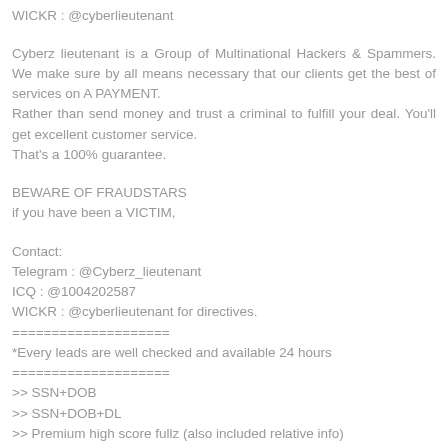WICKR : @cyberlieutenant
Cyberz lieutenant is a Group of Multinational Hackers & Spammers. We make sure by all means necessary that our clients get the best of services on A PAYMENT.
Rather than send money and trust a criminal to fulfill your deal. You'll get excellent customer service.
That's a 100% guarantee.
BEWARE OF FRAUDSTARS
if you have been a VICTIM,
Contact:
Telegram : @Cyberz_lieutenant
ICQ : @1004202587
WICKR : @cyberlieutenant for directives.
====================
*Every leads are well checked and available 24 hours
====================
>> SSN+DOB
>> SSN+DOB+DL
>> Premium high score fullz (also included relative info)
====================